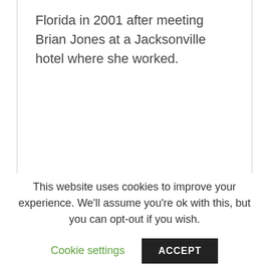Florida in 2001 after meeting Brian Jones at a Jacksonville hotel where she worked.
This website uses cookies to improve your experience. We'll assume you're ok with this, but you can opt-out if you wish.